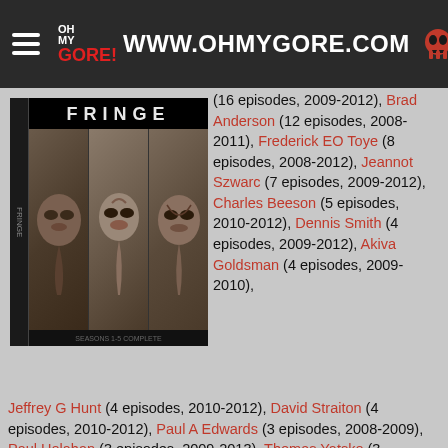OH MY GORE! WWW.OHMYGORE.COM
[Figure (photo): Fringe TV series DVD box set cover showing three faces and the title FRINGE]
(16 episodes, 2009-2012), Brad Anderson (12 episodes, 2008-2011), Frederick EO Toye (8 episodes, 2008-2012), Jeannot Szwarc (7 episodes, 2009-2012), Charles Beeson (5 episodes, 2010-2012), Dennis Smith (4 episodes, 2009-2012), Akiva Goldsman (4 episodes, 2009-2010), Jeffrey G Hunt (4 episodes, 2010-2012), David Straiton (4 episodes, 2010-2012), Paul A Edwards (3 episodes, 2008-2009), Paul Holahan (3 episodes, 2009-2013), Thomas Yatsko (3 episodes, 2010-2011), Jon Cassar (2 episodes, 2009-2012), Miguel Sapochnik (2 episodes, 2011-2012), PJ Pesce (2 episodes, 2012-2013), JH Wyman (2 episodes, 2012-2013), Bill Eagles (1 episode, 2008), Alex Graves (1 episode, 2008), Gwyneth Horder-Payton (1 episode, 2008), Christopher